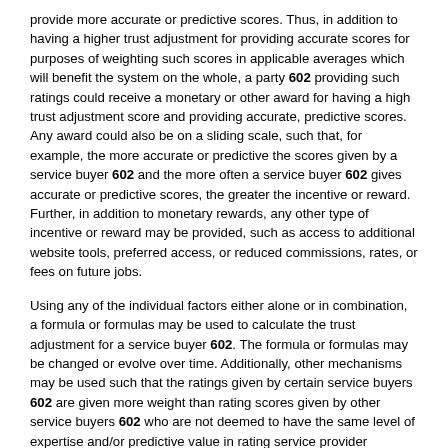provide more accurate or predictive scores. Thus, in addition to having a higher trust adjustment for providing accurate scores for purposes of weighting such scores in applicable averages which will benefit the system on the whole, a party 602 providing such ratings could receive a monetary or other award for having a high trust adjustment score and providing accurate, predictive scores. Any award could also be on a sliding scale, such that, for example, the more accurate or predictive the scores given by a service buyer 602 and the more often a service buyer 602 gives accurate or predictive scores, the greater the incentive or reward. Further, in addition to monetary rewards, any other type of incentive or reward may be provided, such as access to additional website tools, preferred access, or reduced commissions, rates, or fees on future jobs.
Using any of the individual factors either alone or in combination, a formula or formulas may be used to calculate the trust adjustment for a service buyer 602. The formula or formulas may be changed or evolve over time. Additionally, other mechanisms may be used such that the ratings given by certain service buyers 602 are given more weight than rating scores given by other service buyers 602 who are not deemed to have the same level of expertise and/or predictive value in rating service provider performance through the website. Additionally, the trust adjustments applicable to service buyers 602 may or may not be readily viewable by the users of the website, including both service providers 606 and service buyers.